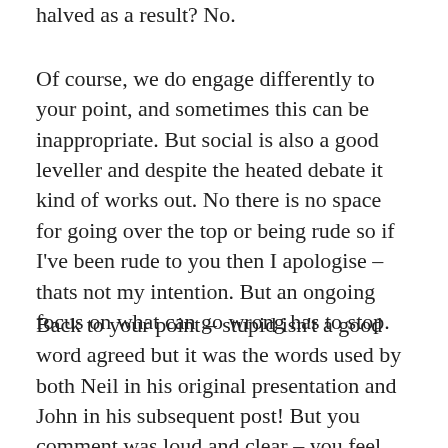halved as a result? No.
Of course, we do engage differently to your point, and sometimes this can be inappropriate. But social is also a good leveller and despite the heated debate it kind of works out. No there is no space for going over the top or being rude so if I've been rude to you then I apologise – thats not my intention. But an ongoing focus on what can go wrong has to stop.
Back to your point – stupid isn't a good word agreed but it was the words used by both Neil in his original presentation and John in his subsequent post! But you comment was loud and clear – you feel that in some organisations and sectors employees cant be empowered or